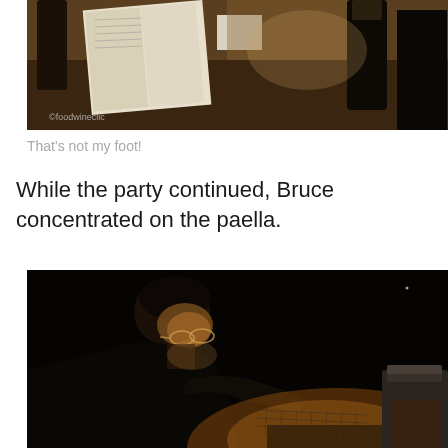[Figure (photo): Top-down view of a table with an open notebook/book, bottles, and various items. Watermark reads '©foodwineclic' in bottom left corner.]
That's not my foot!
While the party continued, Bruce concentrated on the paella.
[Figure (photo): Dark nighttime photo of a person with glasses leaning over what appears to be a paella pan or cooking surface, with warm light illuminating their face from below.]